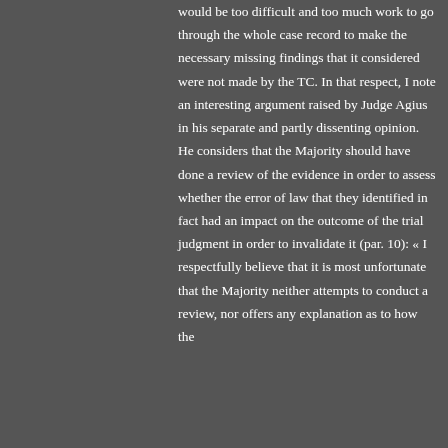would be too difficult and too much work to go through the whole case record to make the necessary missing findings that it considered were not made by the TC. In that respect, I note an interesting argument raised by Judge Agius in his separate and partly dissenting opinion.  He considers that the Majority should have done a review of the evidence in order to assess whether the error of law that they identified in fact had an impact on the outcome of the trial judgment in order to invalidate it (par. 10): « I respectfully believe that it is most unfortunate that the Majority neither attempts to conduct a review, nor offers any explanation as to how the